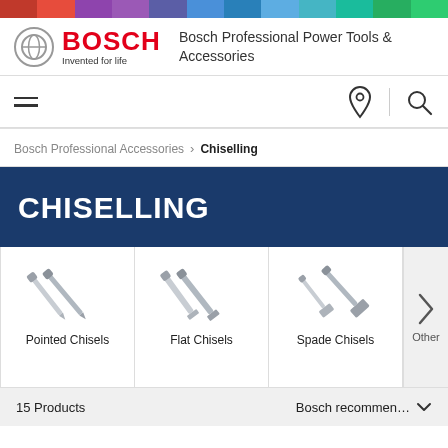[Figure (other): Multicolor horizontal bar at top of page with segments in red, purple, blue, teal, and green]
[Figure (logo): Bosch logo with circular icon, red BOSCH wordmark, and 'Invented for life' tagline]
Bosch Professional Power Tools & Accessories
[Figure (other): Navigation bar with hamburger menu icon on left, location pin and search icons on right]
Bosch Professional Accessories > Chiselling
CHISELLING
[Figure (other): Product category grid showing Pointed Chisels, Flat Chisels, Spade Chisels, and Other with next arrow button]
15 Products
Bosch recommen...